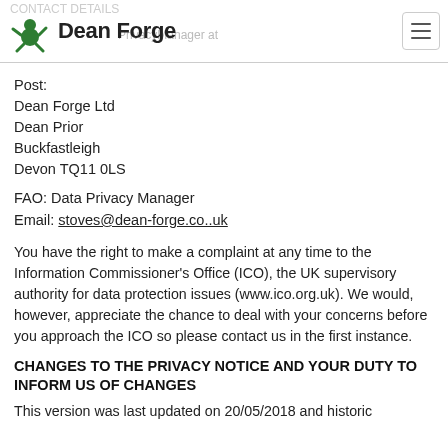CONTACT DETAILS / Dean Forge
Post:
Dean Forge Ltd
Dean Prior
Buckfastleigh
Devon TQ11 0LS
FAO: Data Privacy Manager
Email: stoves@dean-forge.co..uk
You have the right to make a complaint at any time to the Information Commissioner's Office (ICO), the UK supervisory authority for data protection issues (www.ico.org.uk). We would, however, appreciate the chance to deal with your concerns before you approach the ICO so please contact us in the first instance.
CHANGES TO THE PRIVACY NOTICE AND YOUR DUTY TO INFORM US OF CHANGES
This version was last updated on 20/05/2018 and historic